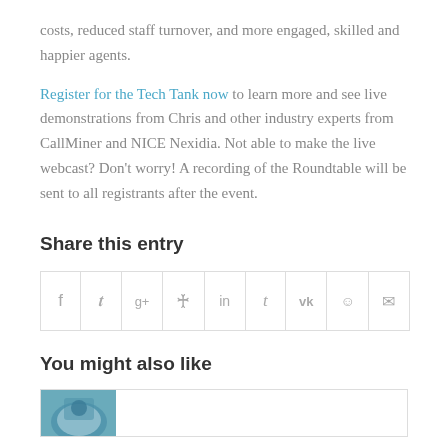costs, reduced staff turnover, and more engaged, skilled and happier agents.
Register for the Tech Tank now to learn more and see live demonstrations from Chris and other industry experts from CallMiner and NICE Nexidia. Not able to make the live webcast? Don't worry! A recording of the Roundtable will be sent to all registrants after the event.
Share this entry
[Figure (other): Social sharing icon bar with icons for Facebook, Twitter, Google+, Pinterest, LinkedIn, Tumblr, VK, Reddit, and Email]
You might also like
[Figure (photo): Thumbnail image partially visible at the bottom of the page]